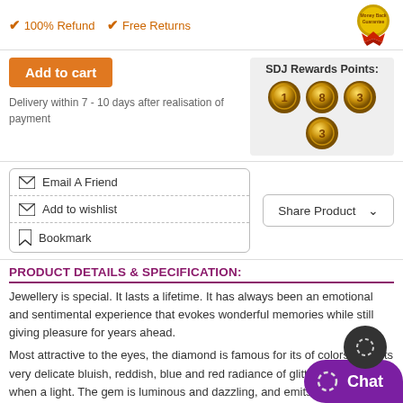✔ 100% Refund  ✔ Free Returns
[Figure (illustration): Money Back Guarantee badge/seal in red and gold]
Add to cart
SDJ Rewards Points:
[Figure (illustration): Four gold coins with numbers 1, 8, 3, 3 arranged in a 3+1 grid]
Delivery within 7 - 10 days after realisation of payment
✉ Email A Friend
✉ Add to wishlist
🔖 Bookmark
Share Product ∨
PRODUCT DETAILS & SPECIFICATION:
Jewellery is special. It lasts a lifetime. It has always been an emotional and sentimental experience that evokes wonderful memories while still giving pleasure for years ahead.
Most attractive to the eyes, the diamond is famous for its of colors. It emits very delicate bluish, reddish, blue and red radiance of glittering luster when light. The gem is luminous and dazzling, and emits sparks of light. All its dazzling effects at only one delight light.